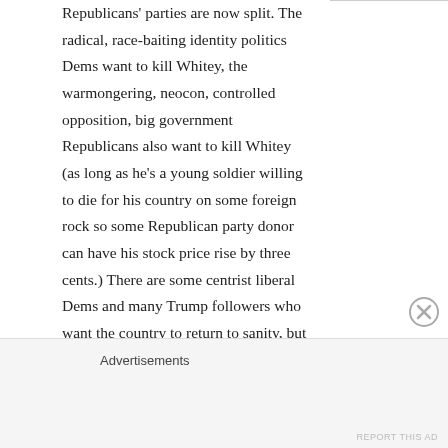Republicans' parties are now split. The radical, race-baiting identity politics Dems want to kill Whitey, the warmongering, neocon, controlled opposition, big government Republicans also want to kill Whitey (as long as he's a young soldier willing to die for his country on some foreign rock so some Republican party donor can have his stock price rise by three cents.) There are some centrist liberal Dems and many Trump followers who want the country to return to sanity, but it seems the radicals and fringes are gaining power by the day. I would hope that they would just kill each other, but they'll probably take down the whole country with them in the
Advertisements